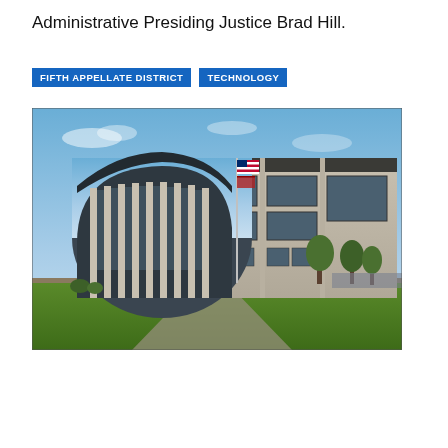Administrative Presiding Justice Brad Hill.
FIFTH APPELLATE DISTRICT | TECHNOLOGY
[Figure (photo): Exterior photograph of a modern courthouse building with a curved glass and column facade on the left side and a rectangular multi-story structure on the right. An American flag and California state flag are visible on a flagpole. Green lawn in the foreground, blue sky in the background.]